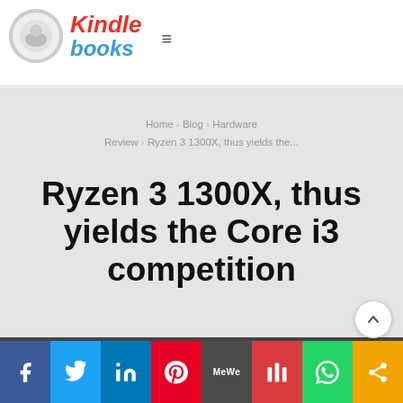[Figure (logo): Kindle books logo with circular icon and red 'Kindle' and blue 'books' text, hamburger menu icon]
Home > Blog > Hardware Review > Ryzen 3 1300X, thus yields the...
Ryzen 3 1300X, thus yields the Core i3 competition
[Figure (infographic): Social media sharing bar with Facebook, Twitter, LinkedIn, Pinterest, MeWe, Mix, WhatsApp, and share icons]